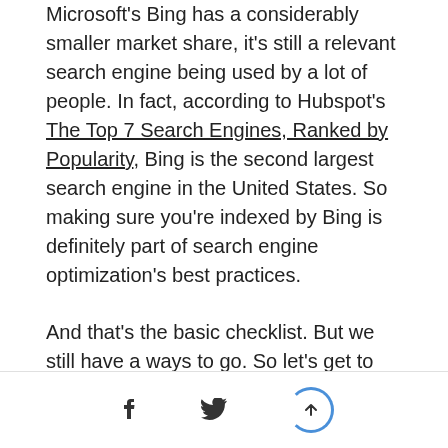Microsoft's Bing has a considerably smaller market share, it's still a relevant search engine being used by a lot of people. In fact, according to Hubspot's The Top 7 Search Engines, Ranked by Popularity, Bing is the second largest search engine in the United States. So making sure you're indexed by Bing is definitely part of search engine optimization's best practices.
And that's the basic checklist. But we still have a ways to go. So let's get to the next checklist.
The Intermediate's Shopify SEO Checklist
Social share and scroll-to-top buttons